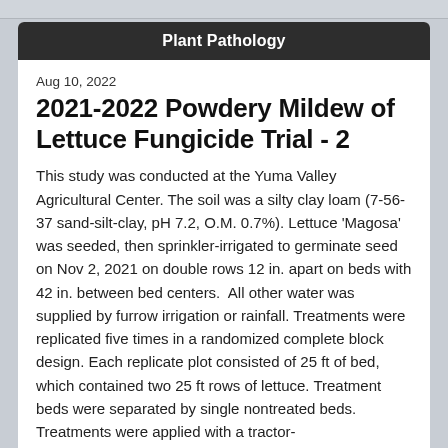Plant Pathology
Aug 10, 2022
2021-2022 Powdery Mildew of Lettuce Fungicide Trial - 2
This study was conducted at the Yuma Valley Agricultural Center. The soil was a silty clay loam (7-56-37 sand-silt-clay, pH 7.2, O.M. 0.7%). Lettuce 'Magosa' was seeded, then sprinkler-irrigated to germinate seed on Nov 2, 2021 on double rows 12 in. apart on beds with 42 in. between bed centers.  All other water was supplied by furrow irrigation or rainfall. Treatments were replicated five times in a randomized complete block design. Each replicate plot consisted of 25 ft of bed, which contained two 25 ft rows of lettuce. Treatment beds were separated by single nontreated beds. Treatments were applied with a tractor-